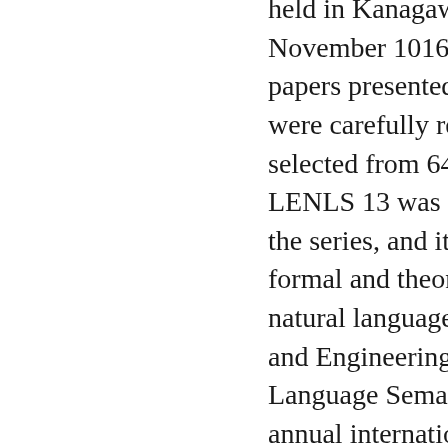held in Kanagawa, Japan, in November 1016. The 22 regular papers presented in this volume were carefully reviewed and selected from 64 submissions. LENLS 13 was the 13th event in the series, and it focused on the formal and theoretical aspects of natural language. LENLS (Logic and Engineering of Natural Language Semantics) is an annual international workshop recognized internationally in the